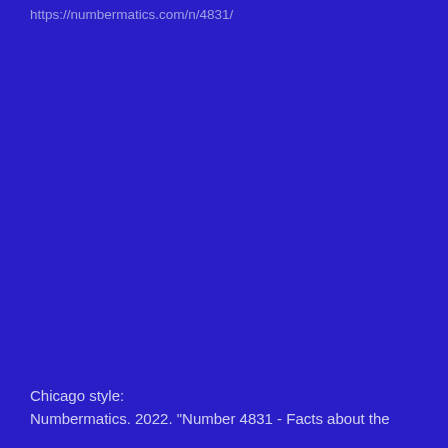https://numbermatics.com/n/4831/
Chicago style:
Numbermatics. 2022. "Number 4831 - Facts about the